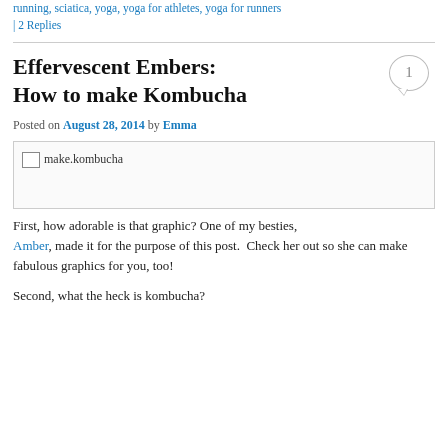running, sciatica, yoga, yoga for athletes, yoga for runners | 2 Replies
Effervescent Embers: How to make Kombucha
Posted on August 28, 2014 by Emma
[Figure (photo): Broken image placeholder labeled 'make.kombucha']
First, how adorable is that graphic? One of my besties, Amber, made it for the purpose of this post.  Check her out so she can make fabulous graphics for you, too!
Second, what the heck is kombucha?